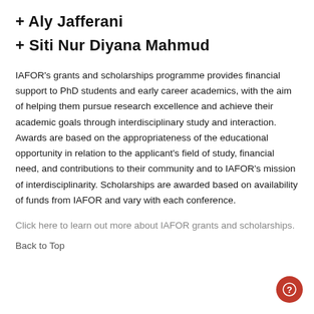+ Aly Jafferani
+ Siti Nur Diyana Mahmud
IAFOR's grants and scholarships programme provides financial support to PhD students and early career academics, with the aim of helping them pursue research excellence and achieve their academic goals through interdisciplinary study and interaction. Awards are based on the appropriateness of the educational opportunity in relation to the applicant's field of study, financial need, and contributions to their community and to IAFOR's mission of interdisciplinarity. Scholarships are awarded based on availability of funds from IAFOR and vary with each conference.
Click here to learn out more about IAFOR grants and scholarships.
Back to Top